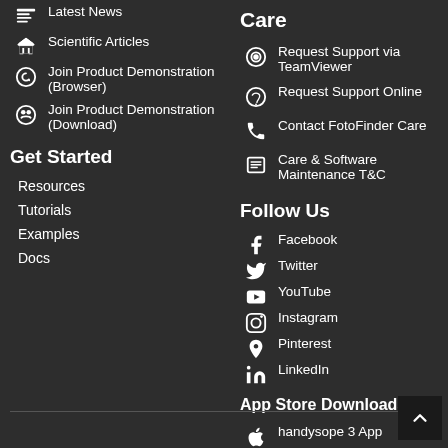Latest News
Scientific Articles
Join Product Demonstration (Browser)
Join Product Demonstration (Download)
Get Started
Resources
Tutorials
Examples
Docs
Care
Request Support via TeamViewer
Request Support Online
Contact FotoFinder Care
Care & Software Maintenance T&C
Follow Us
Facebook
Twitter
YouTube
Instagram
Pinterest
LinkedIn
App Store Downloads
handysope 3 App
universe pro App